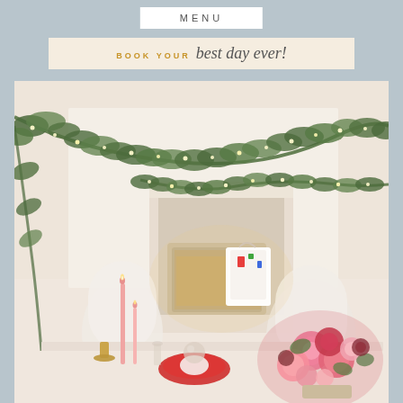MENU
BOOK YOUR best day ever!
[Figure (photo): Indoor event/wedding scene with green garland and fairy lights draped across the ceiling and fireplace mantel, a table set with pink candles, floral centerpiece of pink and red roses, white chairs, and festive holiday decor including a gift bag near a decorative white fireplace.]